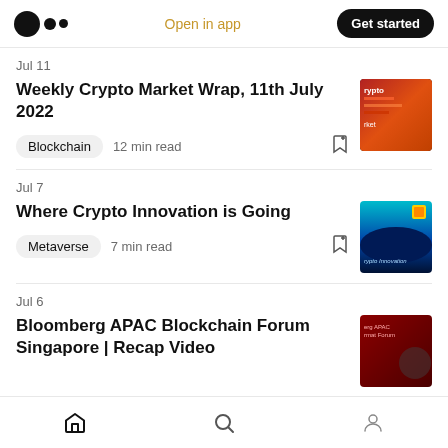Open in app | Get started
Jul 11
Weekly Crypto Market Wrap, 11th July 2022
Blockchain  12 min read
Jul 7
Where Crypto Innovation is Going
Metaverse  7 min read
Jul 6
Bloomberg APAC Blockchain Forum Singapore | Recap Video
Home | Search | Profile